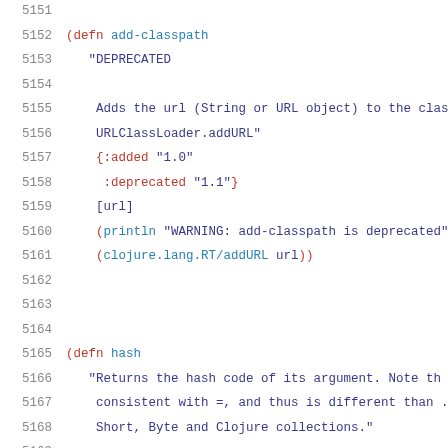Source code listing lines 5151-5172, Clojure code for add-classpath and hash functions